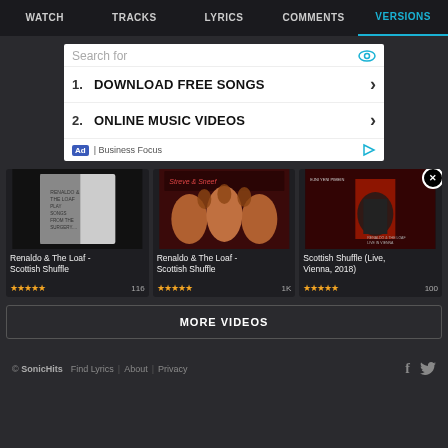WATCH | TRACKS | LYRICS | COMMENTS | VERSIONS
[Figure (screenshot): Advertisement: Search for Download Free Songs, Online Music Videos — Business Focus]
[Figure (screenshot): Album art thumbnail: Renaldo & The Loaf - Scottish Shuffle (hand-drawn sketch style)]
Renaldo & The Loaf - Scottish Shuffle
★★★★★  116
[Figure (screenshot): Album art thumbnail: Renaldo & The Loaf - Scottish Shuffle (red/orange psychedelic style with figures)]
Renaldo & The Loaf - Scottish Shuffle
★★★★★  1K
[Figure (screenshot): Album art thumbnail: Scottish Shuffle Live, Vienna, 2018 — performer on stage with red lighting]
Scottish Shuffle (Live, Vienna, 2018)
★★★★★  100
MORE VIDEOS
© SonicHits  Find Lyrics | About | Privacy